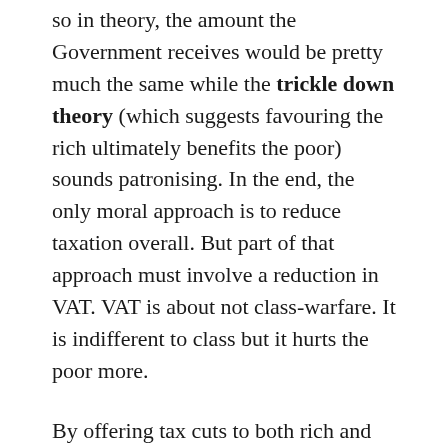so in theory, the amount the Government receives would be pretty much the same while the trickle down theory (which suggests favouring the rich ultimately benefits the poor) sounds patronising. In the end, the only moral approach is to reduce taxation overall. But part of that approach must involve a reduction in VAT. VAT is about not class-warfare. It is indifferent to class but it hurts the poor more.
By offering tax cuts to both rich and poor, George Osborne was not quite following the principles of Austerity, but rather reviving Thatcher's moral vision- to reduce taxation as a whole. He was finally applauded by M. Lagarde who said "At the IMF, when we loaned…"